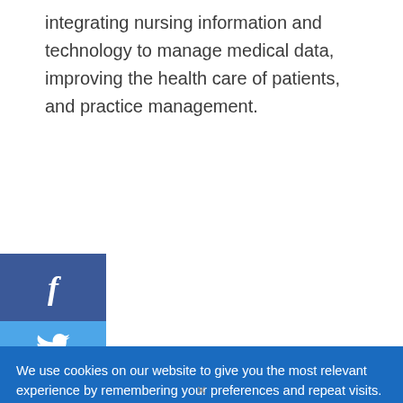integrating nursing information and technology to manage medical data, improving the health care of patients, and practice management.
[Figure (logo): Facebook social share button - dark blue square with white letter f]
[Figure (logo): Twitter social share button - light blue rectangle with white bird icon]
We use cookies on our website to give you the most relevant experience by remembering your preferences and repeat visits. By clicking “Accept”, you consent to the use of ALL the